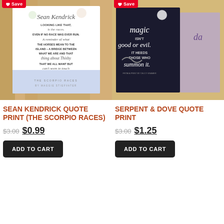[Figure (photo): Product photo of Sean Kendrick Quote Print - The Scorpio Races, shown on a wooden surface with floral and botanical watercolor design]
[Figure (photo): Product photo of Serpent & Dove Quote Print, dark background with magic-themed typography and botanical elements]
SEAN KENDRICK QUOTE PRINT (THE SCORPIO RACES)
SERPENT & DOVE QUOTE PRINT
$3.00 $0.99
$3.00 $1.25
ADD TO CART
ADD TO CART